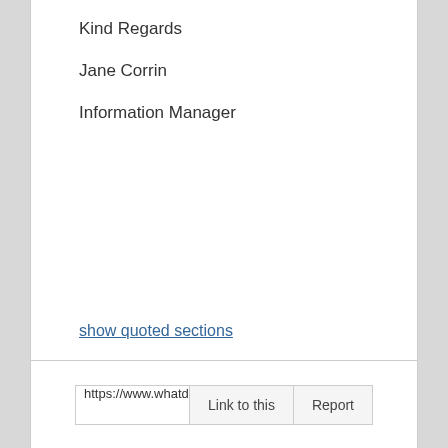Kind Regards
Jane Corrin
Information Manager
show quoted sections
https://www.whatdotheyknow.c  Link to this  Report